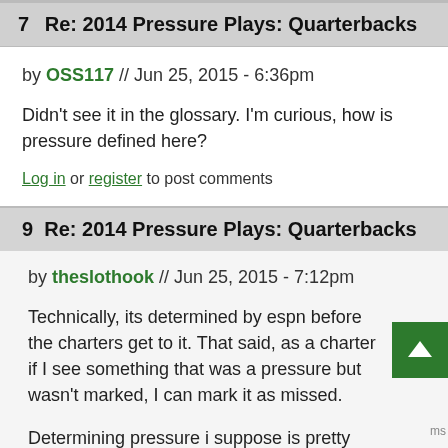7  Re: 2014 Pressure Plays: Quarterbacks
by OSS117 // Jun 25, 2015 - 6:36pm
Didn't see it in the glossary. I'm curious, how is pressure defined here?
Log in or register to post comments
9  Re: 2014 Pressure Plays: Quarterbacks
by theslothook // Jun 25, 2015 - 7:12pm
Technically, its determined by espn before the charters get to it. That said, as a charter if I see something that was a pressure but wasn't marked, I can mark it as missed.
Determining pressure i suppose is pretty